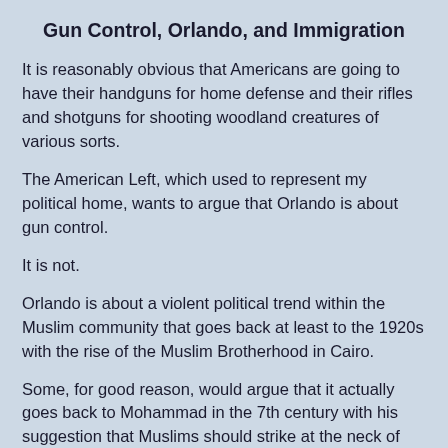Gun Control, Orlando, and Immigration
It is reasonably obvious that Americans are going to have their handguns for home defense and their rifles and shotguns for shooting woodland creatures of various sorts.
The American Left, which used to represent my political home, wants to argue that Orlando is about gun control.
It is not.
Orlando is about a violent political trend within the Muslim community that goes back at least to the 1920s with the rise of the Muslim Brotherhood in Cairo.
Some, for good reason, would argue that it actually goes back to Mohammad in the 7th century with his suggestion that Muslims should strike at the neck of the kuffars, the infidels. And although Omar Seddique Mateen was a native-born American with Afghani roots, the Orlando shooting points to the question of Arab-Muslim immigration into the United States because of the Jihadi inclinations of a